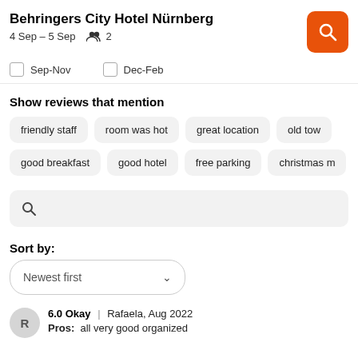Behringers City Hotel Nürnberg
4 Sep – 5 Sep   2
Sep-Nov   Dec-Feb
Show reviews that mention
friendly staff
room was hot
great location
old tow
good breakfast
good hotel
free parking
christmas m
Sort by:
Newest first
6.0 Okay | Rafaela, Aug 2022
Pros:  all very good organized